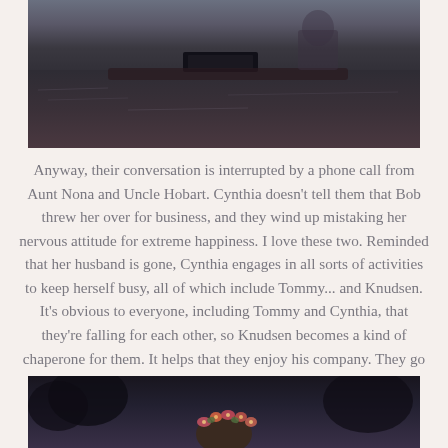[Figure (photo): Top portion of a photo showing what appears to be a boat or water scene, partially cropped at the top of the page]
Anyway, their conversation is interrupted by a phone call from Aunt Nona and Uncle Hobart. Cynthia doesn't tell them that Bob threw her over for business, and they wind up mistaking her nervous attitude for extreme happiness. I love these two. Reminded that her husband is gone, Cynthia engages in all sorts of activities to keep herself busy, all of which include Tommy... and Knudsen. It's obvious to everyone, including Tommy and Cynthia, that they're falling for each other, so Knudsen becomes a kind of chaperone for them. It helps that they enjoy his company. They go boating, hiking, horseback riding, and dancing.
[Figure (photo): Bottom portion of a photo showing a person with a flower crown, partially cropped at the bottom of the page, set against a dark background with trees]